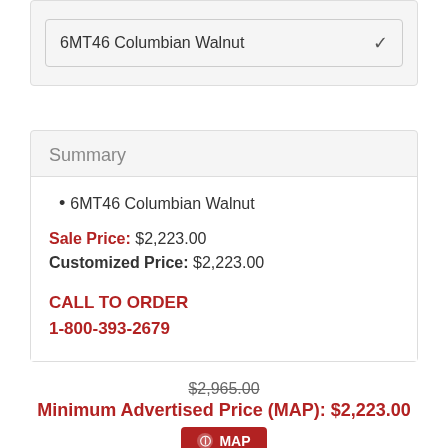6MT46 Columbian Walnut
Summary
6MT46 Columbian Walnut
Sale Price: $2,223.00
Customized Price: $2,223.00
CALL TO ORDER
1-800-393-2679
$2,965.00
Minimum Advertised Price (MAP): $2,223.00
MAP